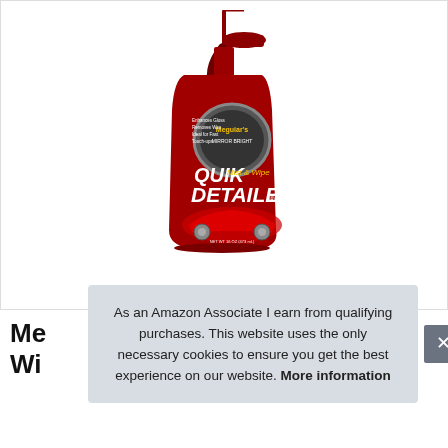[Figure (photo): Meguiar's Quik Detailer Mist & Wipe spray bottle in red with trigger sprayer, showing product label with chrome circle logo and image of red sports car]
Me Wi
As an Amazon Associate I earn from qualifying purchases. This website uses the only necessary cookies to ensure you get the best experience on our website. More information